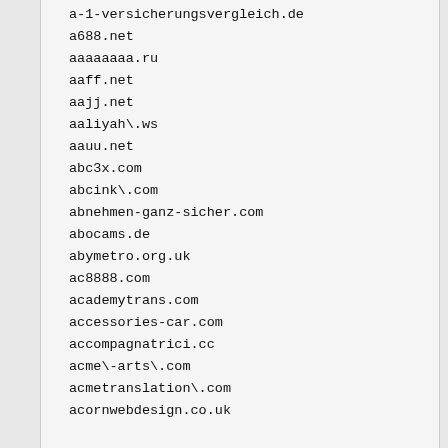a-1-versicherungsvergleich.de
a688.net
aaaaaaaa.ru
aaff.net
aajj.net
aaliyah\.ws
aauu.net
abc3x.com
abcink\.com
abnehmen-ganz-sicher.com
abocams.de
abymetro.org.uk
ac8888.com
academytrans.com
accessories-car.com
accompagnatrici.cc
acme\-arts\.com
acmetranslation\.com
acornwebdesign.co.uk